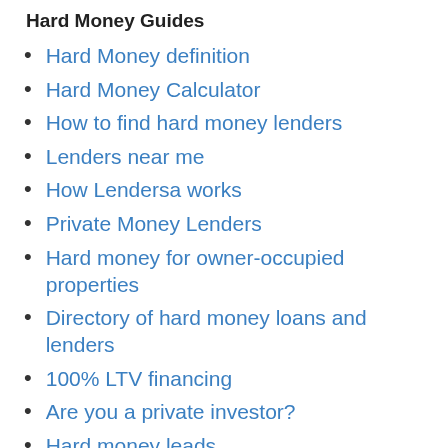Hard Money Guides
Hard Money definition
Hard Money Calculator
How to find hard money lenders
Lenders near me
How Lendersa works
Private Money Lenders
Hard money for owner-occupied properties
Directory of hard money loans and lenders
100% LTV financing
Are you a private investor?
Hard money leads